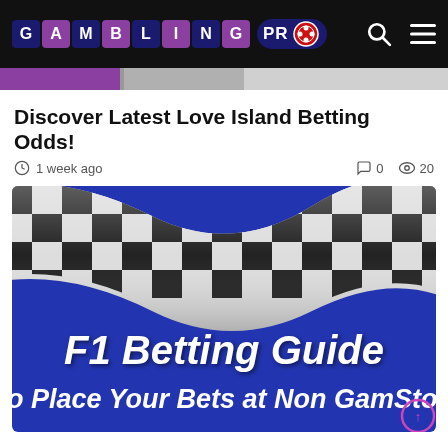GAMBLING PRO
Discover Latest Love Island Betting Odds!
1 week ago   0   20
[Figure (photo): F1 Betting Guide promotional image with checkered racing flag on blue background, text reads 'F1 Betting Guide' and 'o Place Your Bets at Non GamStop']